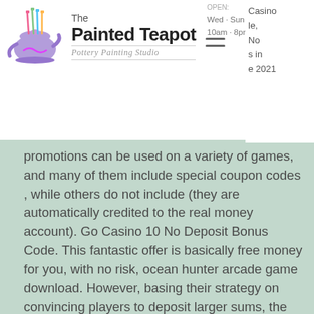[Figure (logo): The Painted Teapot - Pottery Painting Studio logo with teapot illustration]
OPEN:
Wed - Sun
10am - 8pm
Casino ... le, No ... s in ... e 2021
promotions can be used on a variety of games, and many of them include special coupon codes , while others do not include (they are automatically credited to the real money account). Go Casino 10 No Deposit Bonus Code. This fantastic offer is basically free money for you, with no risk, ocean hunter arcade game download. However, basing their strategy on convincing players to deposit larger sums, the gambling operators dont't usually hand over great bonuses for a $1 deposit, pesawat pembom tu 160 blackjack. Caesars casino no deposit promo code. All you need to do to take advantage of caesars casino's no deposit bonus is click one of the links on this page